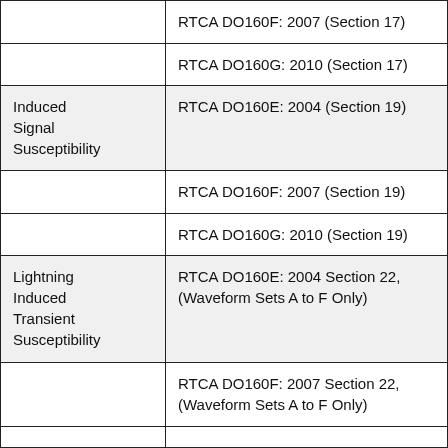|  | RTCA DO160F: 2007 (Section 17) |
|  | RTCA DO160G: 2010 (Section 17) |
| Induced Signal Susceptibility | RTCA DO160E: 2004 (Section 19) |
|  | RTCA DO160F: 2007 (Section 19) |
|  | RTCA DO160G: 2010 (Section 19) |
| Lightning Induced Transient Susceptibility | RTCA DO160E: 2004 Section 22, (Waveform Sets A to F Only) |
|  | RTCA DO160F: 2007 Section 22, (Waveform Sets A to F Only) |
|  |  |